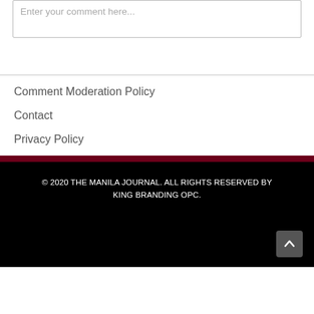Enter your comment here...
Comment Moderation Policy
Contact
Privacy Policy
© 2020 THE MANILA JOURNAL. ALL RIGHTS RESERVED BY KING BRANDING OPC.